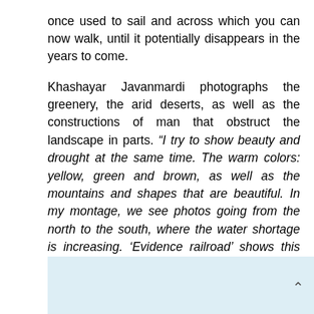once used to sail and across which you can now walk, until it potentially disappears in the years to come.
Khashayar Javanmardi photographs the greenery, the arid deserts, as well as the constructions of man that obstruct the landscape in parts. “I try to show beauty and drought at the same time. The warm colors: yellow, green and brown, as well as the mountains and shapes that are beautiful. In my montage, we see photos going from the north to the south, where the water shortage is increasing. ‘Evidence railroad’ shows this arid and mountainous country with varied climates, this country of paradoxes. ‘Evidence railroad’ is “a document about earth and sky, land and water, life and death. A document of the country’s history and civilization, political turning points and culture.”
[Figure (other): Light blue/gray background area at bottom of page with a chevron/caret up arrow in the bottom right corner]